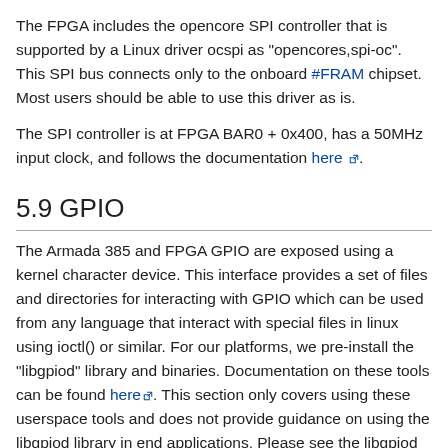The FPGA includes the opencore SPI controller that is supported by a Linux driver ocspi as "opencores,spi-oc". This SPI bus connects only to the onboard #FRAM chipset. Most users should be able to use this driver as is.
The SPI controller is at FPGA BAR0 + 0x400, has a 50MHz input clock, and follows the documentation here.
5.9 GPIO
The Armada 385 and FPGA GPIO are exposed using a kernel character device. This interface provides a set of files and directories for interacting with GPIO which can be used from any language that interact with special files in linux using ioctl() or similar. For our platforms, we pre-install the "libgpiod" library and binaries. Documentation on these tools can be found here. This section only covers using these userspace tools and does not provide guidance on using the libgpiod library in end applications. Please see the libgpiod documentation for this